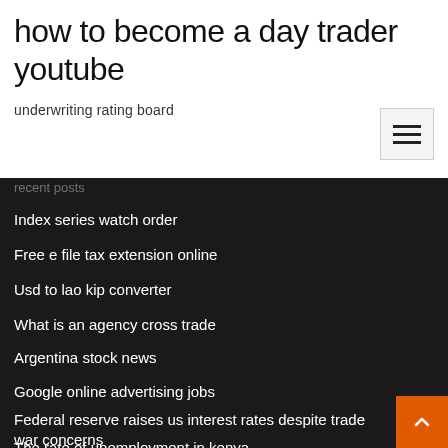how to become a day trader youtube
underwriting rating board
[Figure (other): Hamburger menu button icon with three horizontal lines]
recent posts (partially visible)
Index series watch order
Free e file tax extension online
Usd to lao kip converter
What is an agency cross trade
Argentina stock news
Google online advertising jobs
Federal reserve raises us interest rates despite trade war concerns
The rate of unemployment in kenya